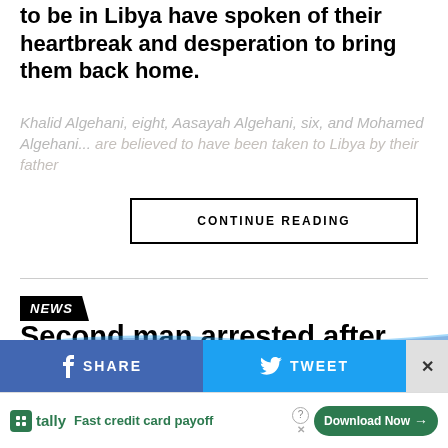to be in Libya have spoken of their heartbreak and desperation to bring them back home.
Khalid Algehani, eight, Aasayah Algehani, six, and Mohamed Algehani...
CONTINUE READING
NEWS
Second man arrested after girl, 6, abducted and assaulted
BREAKING: The girl was abducted on Wednesday afternoon
Published 3 days ago on August 19, 2022
[Figure (screenshot): Social media share bar with Facebook SHARE and Twitter TWEET buttons, and a close X button]
[Figure (screenshot): Tally advertisement banner: Fast credit card payoff with Download Now button]